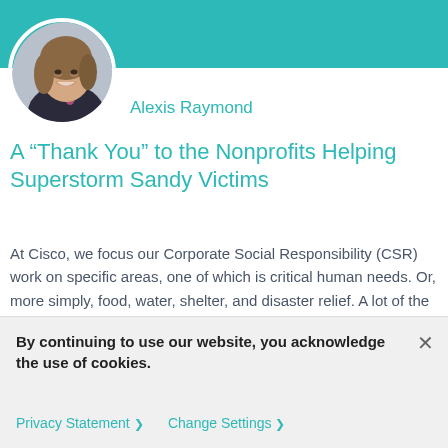[Figure (photo): Teal/turquoise header banner with Cisco logo]
[Figure (photo): Circular profile photo of Alexis Raymond, a woman with shoulder-length brown hair, wearing a dark blazer, smiling]
Alexis Raymond
A “Thank You” to the Nonprofits Helping Superstorm Sandy Victims
At Cisco, we focus our Corporate Social Responsibility (CSR) work on specific areas, one of which is critical human needs. Or, more simply, food, water, shelter, and disaster relief. A lot of the nonprofits we have partnered with over the years in this area, such as food banks and disaster response agencies, have been working round-the-clock [...]
By continuing to use our website, you acknowledge the use of cookies.
Privacy Statement > Change Settings >